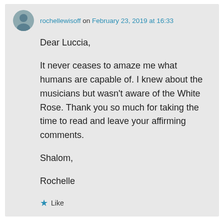rochellewisoff on February 23, 2019 at 16:33
Dear Luccia,

It never ceases to amaze me what humans are capable of. I knew about the musicians but wasn't aware of the White Rose. Thank you so much for taking the time to read and leave your affirming comments.

Shalom,

Rochelle
Like
Reply
larry.trasciatti on February 22, 2019 at 09:33